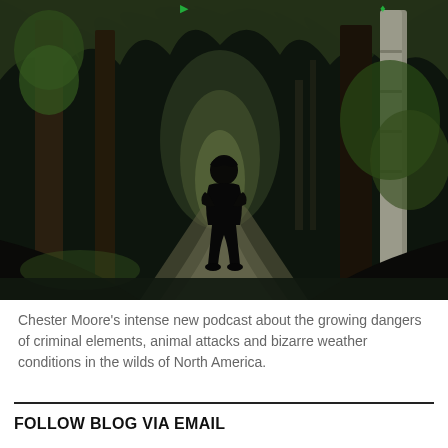[Figure (photo): A dark forest path at night with a hooded silhouette standing in the middle of the trail. Trees with green moss and foliage are lit by a light source. The scene is atmospheric and eerie.]
Chester Moore's intense new podcast about the growing dangers of criminal elements, animal attacks and bizarre weather conditions in the wilds of North America.
FOLLOW BLOG VIA EMAIL